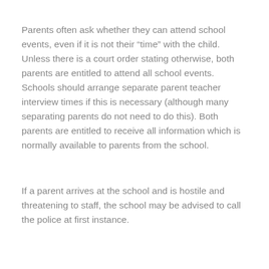Parents often ask whether they can attend school events, even if it is not their “time” with the child. Unless there is a court order stating otherwise, both parents are entitled to attend all school events. Schools should arrange separate parent teacher interview times if this is necessary (although many separating parents do not need to do this). Both parents are entitled to receive all information which is normally available to parents from the school.
If a parent arrives at the school and is hostile and threatening to staff, the school may be advised to call the police at first instance.